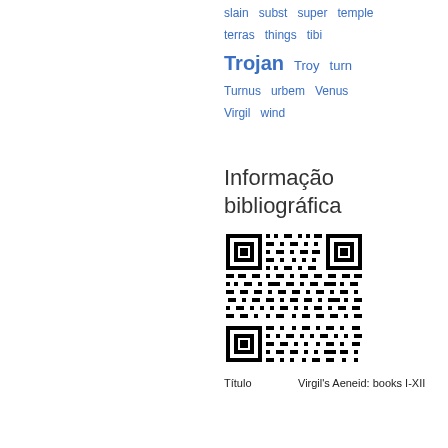slain  subst  super  temple  terras  things  tibi  Trojan  Troy  turn  Turnus  urbem  Venus  Virgil  wind
Informação bibliográfica
[Figure (other): QR code linking to bibliographic information for Virgil's Aeneid: books I-XII]
| Título | Virgil's Aeneid: books I-XII |